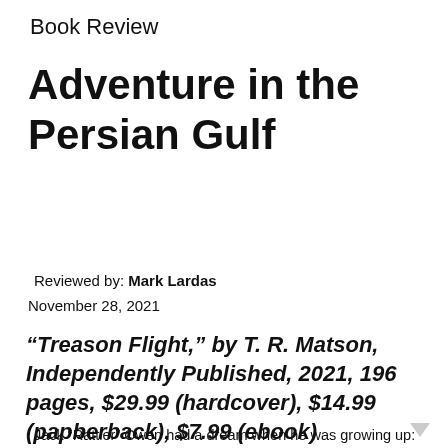Book Review
Adventure in the Persian Gulf
Reviewed by: Mark Lardas
November 28, 2021
“Treason Flight,” by T. R. Matson, Independently Published, 2021, 196 pages, $29.99 (hardcover), $14.99 (papberback), $7.99 (ebook)
Jack “Rattler” Owen had a dream when he was growing up: